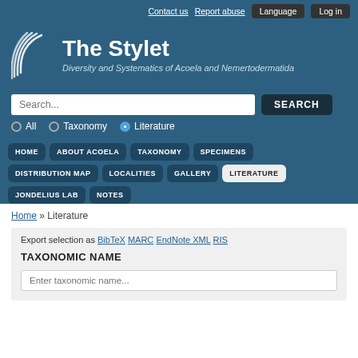Contact us  Report abuse  Language  Log in
The Stylet
Diversity and Systematics of Acoela and Nemertodermatida
Search...  SEARCH  All  Taxonomy  Literature
HOME  ABOUT ACOELA  TAXONOMY  SPECIMENS  DISTRIBUTION MAP  LOCALITIES  GALLERY  LITERATURE  JONDELIUS LAB  NOTES
Home » Literature
Export selection as BibTeX MARC EndNote XML RIS
TAXONOMIC NAME
Enter taxonomic name...